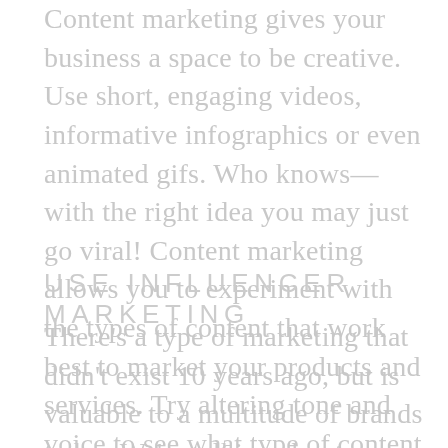Content marketing gives your business a space to be creative. Use short, engaging videos, informative infographics or even animated gifs. Who knows—with the right idea you may just go viral! Content marketing allows you to experiment with the types of content that work best to market your products and services. Try altering tone and voice to see what type of content resonates best with your audience.
USE INFLUENCER MARKETING
There's a type of marketing that didn't exist 10 years ago, but is valuable to a multitude of brands today. We're talking about leveraging influencers—